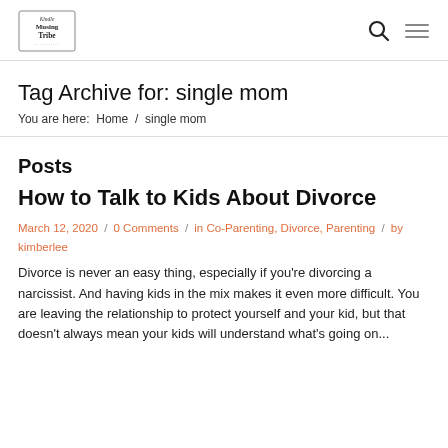Kindle Musing Tribe logo, search icon, menu icon
Tag Archive for: single mom
You are here:  Home  /  single mom
Posts
How to Talk to Kids About Divorce
March 12, 2020  /  0 Comments  /  in  Co-Parenting, Divorce, Parenting  /  by
kimberlee
Divorce is never an easy thing, especially if you're divorcing a narcissist. And having kids in the mix makes it even more difficult. You are leaving the relationship to protect yourself and your kid, but that doesn't always mean your kids will understand what's going on...